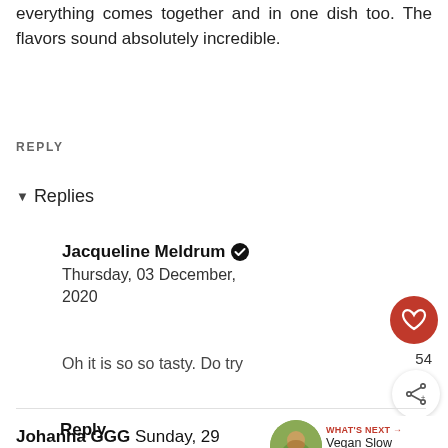everything comes together and in one dish too. The flavors sound absolutely incredible.
REPLY
▾ Replies
Jacqueline Meldrum ✔ Thursday, 03 December, 2020
Oh it is so so tasty. Do try
54
Reply
Johanna GGG Sunday, 29 November, 2020
[Figure (other): What's Next promo box with food image, label 'WHAT'S NEXT →', and text 'Vegan Slow Cooker...']